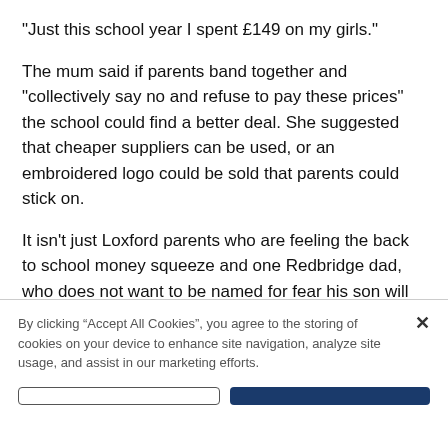"Just this school year I spent £149 on my girls."
The mum said if parents band together and "collectively say no and refuse to pay these prices" the school could find a better deal. She suggested that cheaper suppliers can be used, or an embroidered logo could be sold that parents could stick on.
It isn't just Loxford parents who are feeling the back to school money squeeze and one Redbridge dad, who does not want to be named for fear his son will be penalised, said he is fed up with being made to order through the M&S school shop when he could pick up clothing cheaper at the supermarket.
By clicking “Accept All Cookies”, you agree to the storing of cookies on your device to enhance site navigation, analyze site usage, and assist in our marketing efforts.